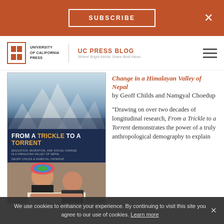SUBSCRIBE  ×
UNIVERSITY of CALIFORNIA PRESS | UC PRESS BLOG Where Bright Minds Share Bold Ideas
[Figure (photo): Book cover of 'From a Trickle to a Torrent: Education, Migration, and Social Change in a Himalayan Valley of Nepal' by Geoff Childs and Namgyal Choedup. Shows a mountain landscape on top and two people reading below.]
Change in a Himalayan Valley of Nepal by Geoff Childs and Namgyal Choedup

"Drawing on over two decades of longitudinal research, From a Trickle to a Torrent demonstrates the power of a truly anthropological demography to explain
We use cookies to enhance your experience. By continuing to visit this site you agree to our use of cookies. Learn more  ×